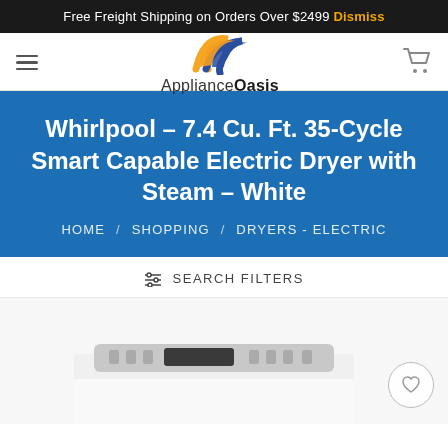Free Freight Shipping on Orders Over $2499 Dismiss
[Figure (logo): ApplianceOasis logo with orange and blue arc swoosh icon above text 'ApplianceOasis']
Whirlpool – 7.4 Cu. Ft. 35-Cycle Smart Capable Electric Dryer with Steam – White
HOME / SHOPPING / DRYERS - ELECTRIC
SEARCH FILTERS
[Figure (photo): Top portion of a white Whirlpool electric dryer showing the control panel with display and buttons]